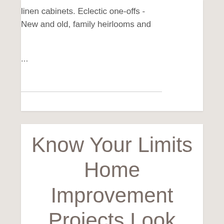linen cabinets. Eclectic one-offs - New and old, family heirlooms and
...
Know Your Limits Home Improvement Projects Look